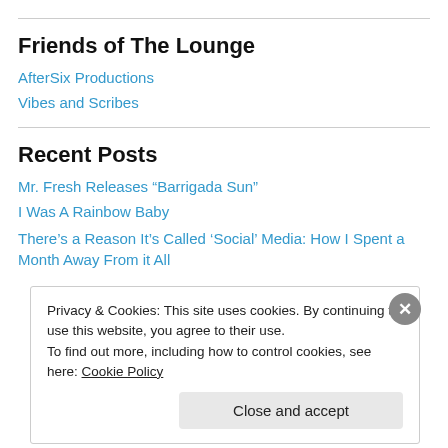Friends of The Lounge
AfterSix Productions
Vibes and Scribes
Recent Posts
Mr. Fresh Releases “Barrigada Sun”
I Was A Rainbow Baby
There’s a Reason It’s Called ‘Social’ Media: How I Spent a Month Away From it All
Privacy & Cookies: This site uses cookies. By continuing to use this website, you agree to their use.
To find out more, including how to control cookies, see here: Cookie Policy
Close and accept